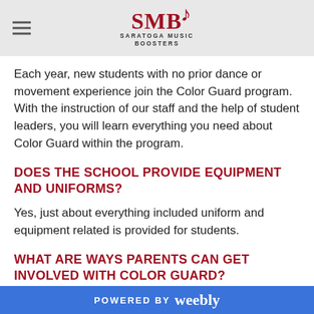SMB Saratoga Music Boosters
Each year, new students with no prior dance or movement experience join the Color Guard program. With the instruction of our staff and the help of student leaders, you will learn everything you need about Color Guard within the program.
DOES THE SCHOOL PROVIDE EQUIPMENT AND UNIFORMS?
Yes, just about everything included uniform and equipment related is provided for students.
WHAT ARE WAYS PARENTS CAN GET INVOLVED WITH COLOR GUARD?
POWERED BY weebly